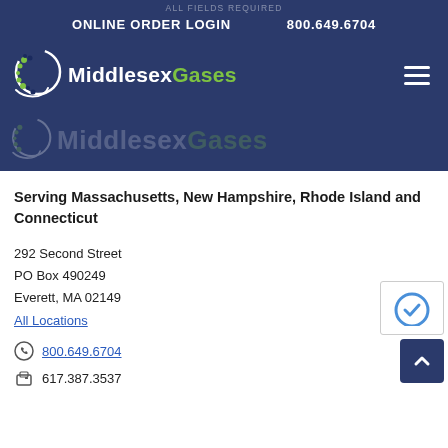ALL FIELDS REQUIRED
ONLINE ORDER LOGIN   800.649.6704
[Figure (logo): Middlesex Gases logo with DNA helix graphic, white text 'Middlesex' and green text 'Gases' on dark navy background, with hamburger menu icon on right]
[Figure (logo): Faded/watermark version of Middlesex Gases logo repeated in lower header section]
Serving Massachusetts, New Hampshire, Rhode Island and Connecticut
292 Second Street
PO Box 490249
Everett, MA 02149
All Locations
800.649.6704
617.387.3537